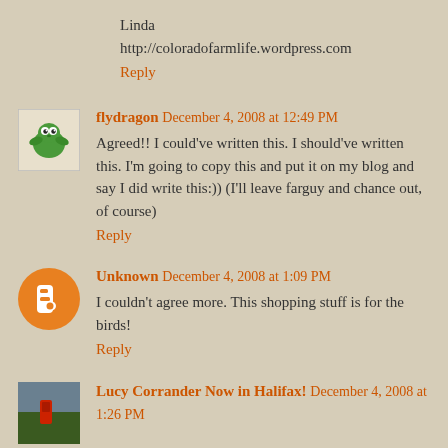Linda
http://coloradofarmlife.wordpress.com
Reply
flydragon December 4, 2008 at 12:49 PM
Agreed!! I could've written this. I should've written this. I'm going to copy this and put it on my blog and say I did write this:)) (I'll leave farguy and chance out, of course)
Reply
Unknown December 4, 2008 at 1:09 PM
I couldn't agree more. This shopping stuff is for the birds!
Reply
Lucy Corrander Now in Halifax! December 4, 2008 at 1:26 PM